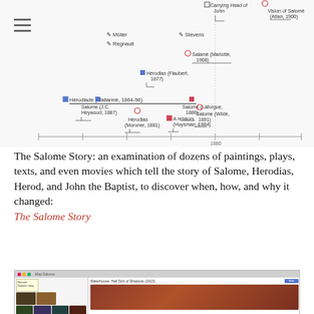[Figure (other): Screenshot of a timeline visualization showing various works related to Salome story (paintings, texts, plays) plotted chronologically. Items include: Carrying Head of John, Vision of Salomé (Atlan, 1900), Müller, Stevens, Regnault, Salamé (Mariotte, 1908), Hérodias (Flaubert, 1877), Hérodiade (Mallarmé, 1864-96), A rebours (Huysman, 1884), Salome (J.C. Heywood, 1867), Salomé (Laforgue, 1886), Salome (Wilde, 1891), Herodias (Moroner, 1881). A hamburger menu icon appears at top-left. Timeline axis shows around 1880-1900 range.]
The Salome Story: an examination of dozens of paintings, plays, texts, and even movies which tell the story of Salome, Herodias, Herod, and John the Baptist, to discover when, how, and why it changed: The Salome Story
[Figure (screenshot): Screenshot of a software application (likely Tinderbox or similar) showing a grid of thumbnail images of paintings on the left and a detail view of 'Waterhouse: Hall Sick of Shadows (1915)' on the right, showing a woman in red robes.]